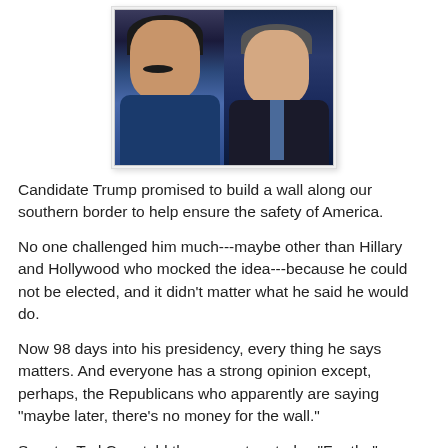[Figure (photo): Side-by-side photo of two men: on the left, a man with a mustache in a dark blue shirt; on the right, a man in a dark suit and tie gesturing with his hand.]
Candidate Trump promised to build a wall along our southern border to help ensure the safety of America.
No one challenged him much---maybe other than Hillary and Hollywood who mocked the idea---because he could not be elected, and it didn't matter what he said he would do.
Now 98 days into his presidency, every thing he says matters. And everyone has a strong opinion except, perhaps, the Republicans who apparently are saying "maybe later, there's no money for the wall."
Senator Ted Cruz told the supporters today "For the"